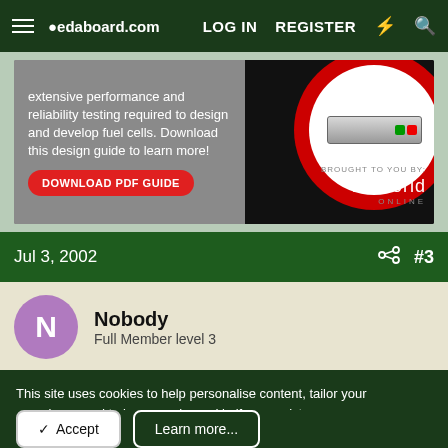edaboard.com | LOG IN | REGISTER
[Figure (photo): Advertisement banner for EEworld Online featuring a server/rack unit image inside a red and white circle on a dark background, with text about fuel cell performance testing and a Download PDF Guide button.]
Jul 3, 2002  #3
Nobody
Full Member level 3
This site uses cookies to help personalise content, tailor your experience and to keep you logged in if you register.
By continuing to use this site, you are consenting to our use of cookies.
✓ Accept    Learn more...